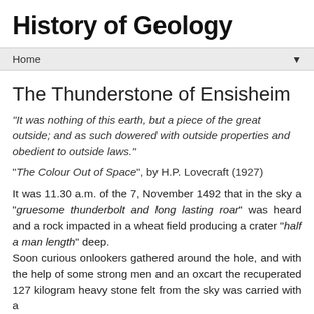History of Geology
Home
The Thunderstone of Ensisheim
"It was nothing of this earth, but a piece of the great outside; and as such dowered with outside properties and obedient to outside laws." "The Colour Out of Space", by H.P. Lovecraft (1927)
It was 11.30 a.m. of the 7, November 1492 that in the sky a “gruesome thunderbolt and long lasting roar” was heard and a rock impacted in a wheat field producing a crater “half a man length” deep.
Soon curious onlookers gathered around the hole, and with the help of some strong men and an oxcart the recuperated 127 kilogram heavy stone felt from the sky was carried with a